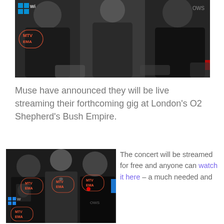[Figure (photo): Three members of Muse standing at the MTV EMA photo backdrop, cropped top portion showing torsos and faces, MTV EMA logos visible on white backdrop]
Muse have announced they will be live streaming their forthcoming gig at London's O2 Shepherd's Bush Empire.
[Figure (photo): Three members of Muse standing at the MTV EMA photo backdrop, full body shot, MTV EMA logos visible, Windows logo also visible]
The concert will be streamed for free and anyone can watch it here – a much needed and